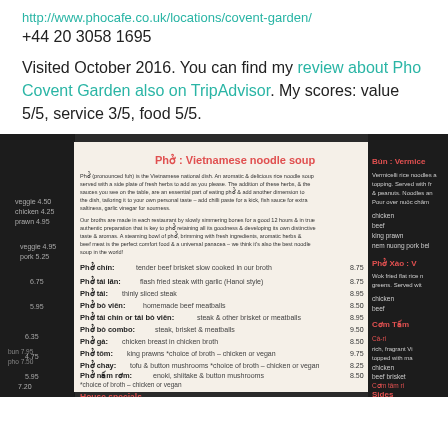http://www.phocafe.co.uk/locations/covent-garden/
+44 20 3058 1695
Visited October 2016. You can find my review about Pho Covent Garden also on TripAdvisor. My scores: value 5/5, service 3/5, food 5/5.
[Figure (photo): Photograph of a Pho restaurant menu showing Vietnamese noodle soup items including Pho Chin, Pho tai lan, Pho tai, Pho bo vien, Pho tai chin, Pho bo combo, Pho gai, Pho tom, Pho chay, Pho nam rom, and House specials including Pho bo nam trung, Bun rieu, Pho dac biet, and Hot and spicy soups. Right side shows Bun vermice, Pho Xao, Com Tam, and Sides sections.]